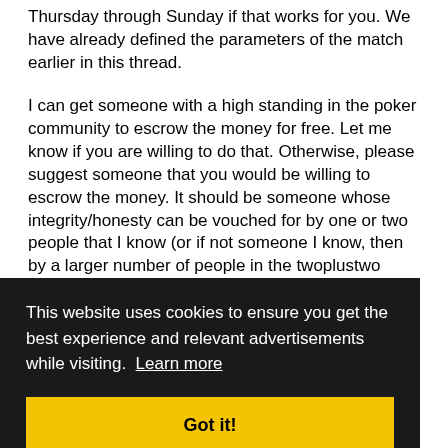Thursday through Sunday if that works for you. We have already defined the parameters of the match earlier in this thread.
I can get someone with a high standing in the poker community to escrow the money for free. Let me know if you are willing to do that. Otherwise, please suggest someone that you would be willing to escrow the money. It should be someone whose integrity/honesty can be vouched for by one or two people that I know (or if not someone I know, then by a larger number of people in the twoplustwo community).
ow
de for this ee to
atch - I am merely sick of waiting for you and your excuses and
[Figure (screenshot): Cookie consent banner overlay with dark background, text reading 'This website uses cookies to ensure you get the best experience and relevant advertisements while visiting. Learn more' and a yellow 'Got it!' button.]